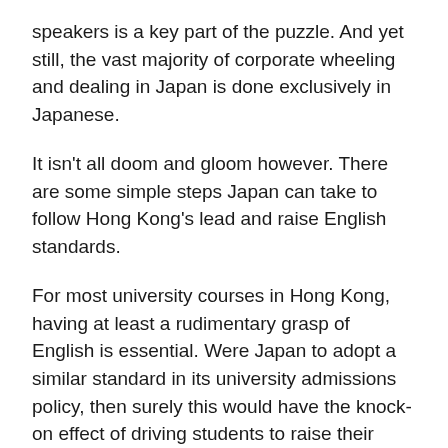speakers is a key part of the puzzle. And yet still, the vast majority of corporate wheeling and dealing in Japan is done exclusively in Japanese.
It isn't all doom and gloom however. There are some simple steps Japan can take to follow Hong Kong's lead and raise English standards.
For most university courses in Hong Kong, having at least a rudimentary grasp of English is essential. Were Japan to adopt a similar standard in its university admissions policy, then surely this would have the knock-on effect of driving students to raise their English levels. The idea of making English proficiency exams such as TOEFL a mandatory part of all university entrance exams in Japan is currently a hot topic among academics.
The notion for a more disciplinary approach to developing...